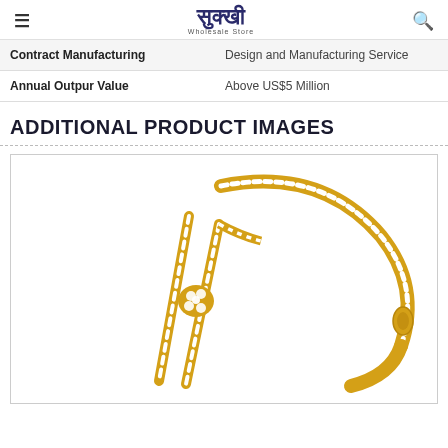Sukkhi Wholesale Store
| Contract Manufacturing | Design and Manufacturing Service |
| Annual Outpur Value | Above US$5 Million |
ADDITIONAL PRODUCT IMAGES
[Figure (photo): Gold and diamond/crystal bangle bracelet with decorative crossed bar motif set with white stones, shown on white background]